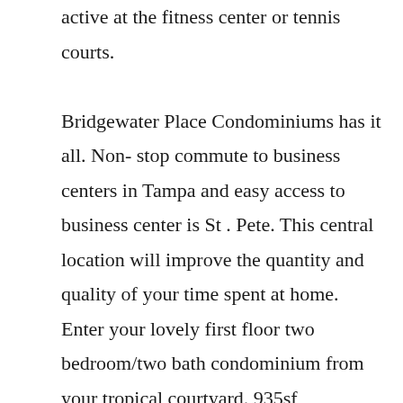active at the fitness center or tennis courts.

Bridgewater Place Condominiums has it all. Non- stop commute to business centers in Tampa and easy access to business center is St . Pete. This central location will improve the quantity and quality of your time spent at home. Enter your lovely first floor two bedroom/two bath condominium from your tropical courtyard. 935sf completely remodeled. This split bedroom floor plan is versatile, livable, and comes with a fireplace! Many upgrades which include wood cabinetry, laminate wood floors, dining room shelving, granite counter tops, and stainless steel appliances. There are stunning lake views from the deck and 2 pools to soothe you from whatever the day throws your way. After you catch your breath–get